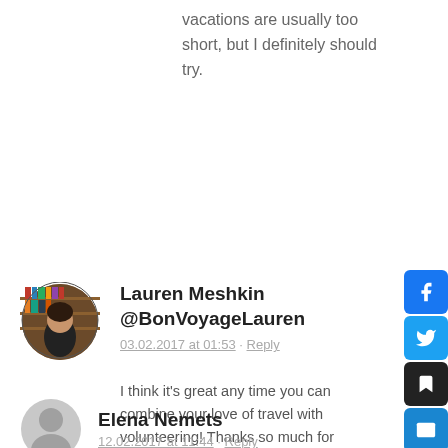vacations are usually too short, but I definitely should try.
Lauren Meshkin @BonVoyageLauren
03.02.2017 at 01:53 · Reply
I think it's great any time you can combine your love of travel with volunteering!  Thanks so much for sharing. Definitely bookmarking.  Happy travels 🙂
Elena Nemets
12.02.2017 at 11:44 · Reply